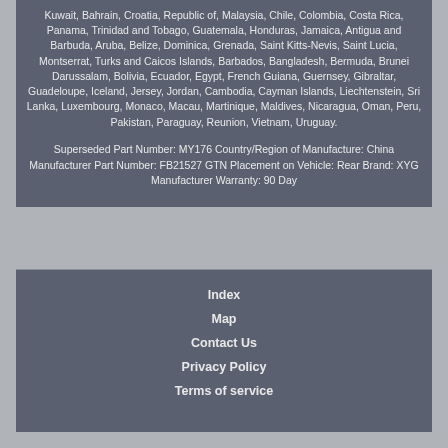Kuwait, Bahrain, Croatia, Republic of, Malaysia, Chile, Colombia, Costa Rica, Panama, Trinidad and Tobago, Guatemala, Honduras, Jamaica, Antigua and Barbuda, Aruba, Belize, Dominica, Grenada, Saint Kitts-Nevis, Saint Lucia, Montserrat, Turks and Caicos Islands, Barbados, Bangladesh, Bermuda, Brunei Darussalam, Bolivia, Ecuador, Egypt, French Guiana, Guernsey, Gibraltar, Guadeloupe, Iceland, Jersey, Jordan, Cambodia, Cayman Islands, Liechtenstein, Sri Lanka, Luxembourg, Monaco, Macau, Martinique, Maldives, Nicaragua, Oman, Peru, Pakistan, Paraguay, Reunion, Vietnam, Uruguay.
Superseded Part Number: MY176 Country/Region of Manufacture: China Manufacturer Part Number: FB21527 GTN Placement on Vehicle: Rear Brand: XYG Manufacturer Warranty: 90 Day
Index
Map
Contact Us
Privacy Policy
Terms of service